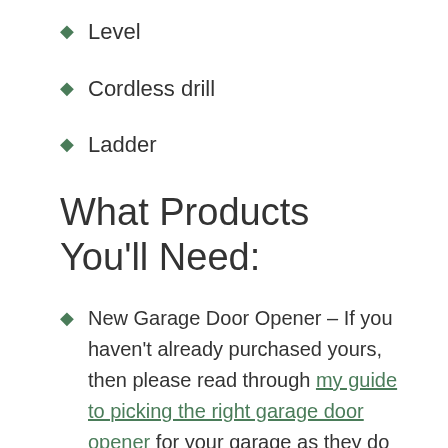Level
Cordless drill
Ladder
What Products You'll Need:
New Garage Door Opener – If you haven't already purchased yours, then please read through my guide to picking the right garage door opener for your garage as they do vary